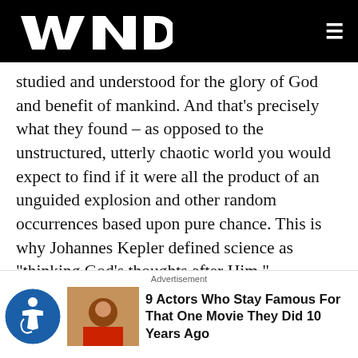WND
studied and understood for the glory of God and benefit of mankind. And that's precisely what they found – as opposed to the unstructured, utterly chaotic world you would expect to find if it were all the product of an unguided explosion and other random occurrences based upon pure chance. This is why Johannes Kepler defined science as "thinking God's thoughts after Him."
When Ham asked Nye where these laws come from – how the laws of logic and laws of nature can proceed from matter – Nye tellingly replied, "I don't know."
[Figure (infographic): Advertisement banner with accessibility icon, movie thumbnail image, and text reading '9 Actors Who Stay Famous For That One Movie They Did 10 Years Ago']